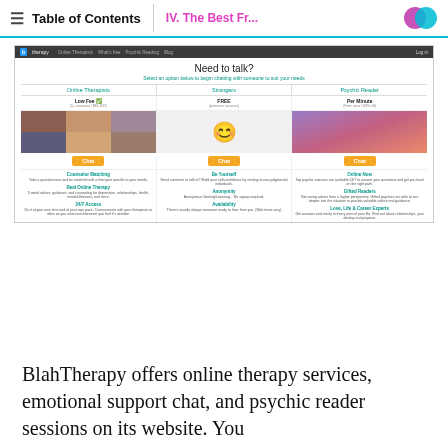Table of Contents | IV. The Best Fr...
[Figure (screenshot): Screenshot of BlahTherapy website showing 'Need to talk?' heading with three columns: Online Therapists (Low Fee), Strangers (FREE), and Psychic Reader (Per Minute), each with Chat buttons and feature descriptions.]
BlahTherapy offers online therapy services, emotional support chat, and psychic reader sessions on its website. You